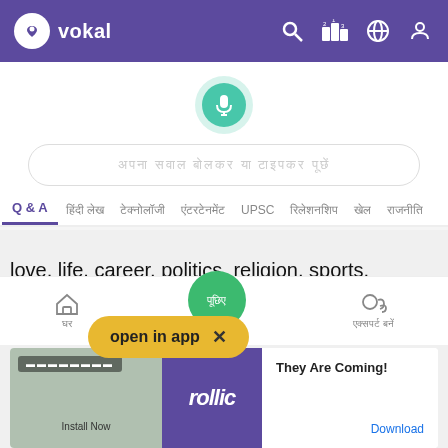[Figure (screenshot): Vokal app header with purple background, vokal logo on left, search/leaderboard/globe/profile icons on right]
[Figure (screenshot): Microphone button (teal) centered above a search bar with Hindi placeholder text]
[Figure (screenshot): Navigation tabs: Q&A (active, purple underline), and several Hindi category tabs, UPSC, etc.]
love, life, career, politics, religion, sports, personal care etc. We have 1000s of experts from different walks of life answering questions on the Vokal App. People can also ask questions directly to experts apart from posting a question to the entire answering co... are an expert or are great at something, we invite you to join this knowledge sharing revolution and help... grow. Download the Vokal
[Figure (screenshot): Open in app yellow pill button with X close button overlaid on text]
[Figure (screenshot): Bottom navigation bar with home icon, green center ask button with Hindi text, and speaker/expert icon]
[Figure (screenshot): Advertisement banner at bottom: game screenshot on left, Rollic purple logo in middle, 'They Are Coming!' text and Download link on right]